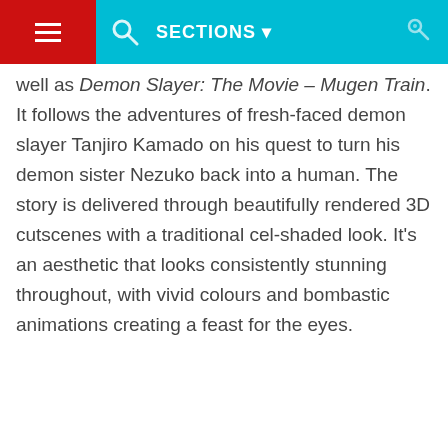SECTIONS
well as Demon Slayer: The Movie – Mugen Train. It follows the adventures of fresh-faced demon slayer Tanjiro Kamado on his quest to turn his demon sister Nezuko back into a human. The story is delivered through beautifully rendered 3D cutscenes with a traditional cel-shaded look. It's an aesthetic that looks consistently stunning throughout, with vivid colours and bombastic animations creating a feast for the eyes.